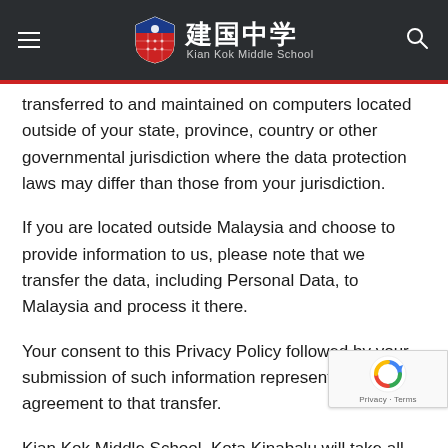建国中学 Kian Kok Middle School
transferred to and maintained on computers located outside of your state, province, country or other governmental jurisdiction where the data protection laws may differ than those from your jurisdiction.
If you are located outside Malaysia and choose to provide information to us, please note that we transfer the data, including Personal Data, to Malaysia and process it there.
Your consent to this Privacy Policy followed by your submission of such information represents your agreement to that transfer.
Kian Kok Middle School, Kota Kinabalu will take all steps